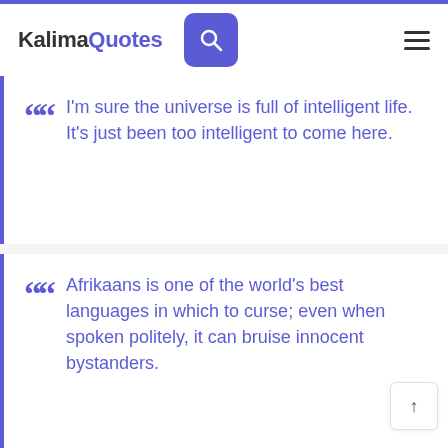KalimaQuotes
I'm sure the universe is full of intelligent life. It's just been too intelligent to come here.
Afrikaans is one of the world's best languages in which to curse; even when spoken politely, it can bruise innocent bystanders.